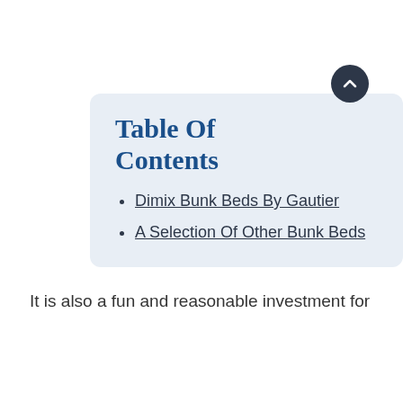Table Of Contents
Dimix Bunk Beds By Gautier
A Selection Of Other Bunk Beds
It is also a fun and reasonable investment for